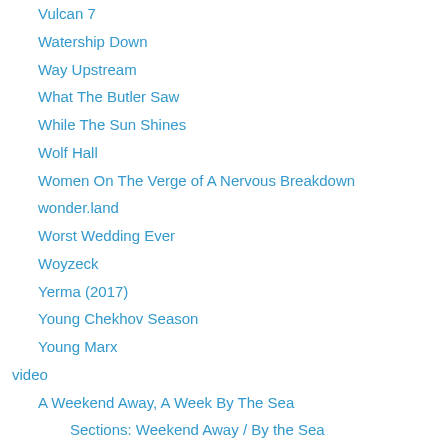Vulcan 7
Watership Down
Way Upstream
What The Butler Saw
While The Sun Shines
Wolf Hall
Women On The Verge of A Nervous Breakdown
wonder.land
Worst Wedding Ever
Woyzeck
Yerma (2017)
Young Chekhov Season
Young Marx
video
A Weekend Away, A Week By The Sea
Sections: Weekend Away / By the Sea
Dennis Cook: A history
Drama, dialogue and video
Teaching with video: techniques
Video: non-authentic